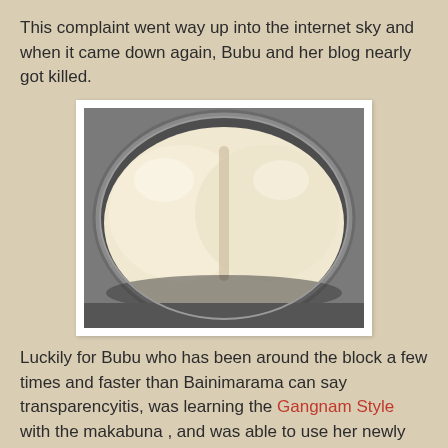This complaint went way up into the internet sky and when it came down again, Bubu and her blog nearly got killed.
[Figure (photo): Two dough balls rising in a round metal pan, photographed from above. The dough is pale cream/white and fills the circular pan completely.]
Luckily for Bubu who has been around the block a few times and faster than Bainimarama can say transparencyitis, was learning the Gangnam Style with the makabuna , and was able to use her newly found ose jumping technique to prevent this would-be heinous blow to the Grubby Komputa Show.
Whow.